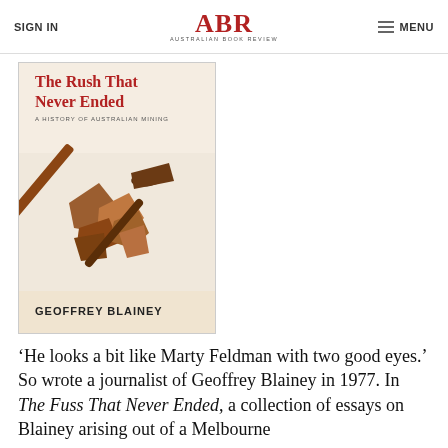SIGN IN | ABR Australian Book Review | MENU
[Figure (illustration): Book cover of 'The Rush That Never Ended: A History of Australian Mining' by Geoffrey Blainey, showing mining tools and ore on a warm brown background]
‘He looks a bit like Marty Feldman with two good eyes.’ So wrote a journalist of Geoffrey Blainey in 1977. In The Fuss That Never Ended, a collection of essays on Blainey arising out of a Melbourne